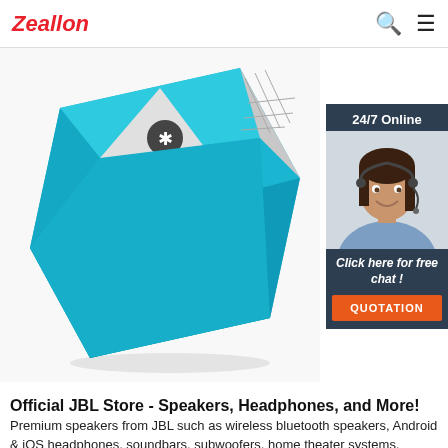Zeallon
[Figure (photo): Blue geometric bluetooth speaker on white background, with a triangular mesh grille and bluetooth symbol visible]
[Figure (infographic): 24/7 Online chat widget showing a smiling woman with headset, text 'Click here for free chat!' and an orange QUOTATION button]
Official JBL Store - Speakers, Headphones, and More!
Premium speakers from JBL such as wireless bluetooth speakers, Android & iOS headphones, soundbars, subwoofers, home theater systems, computer speakers, & iPod/iPhone docks. Get the best